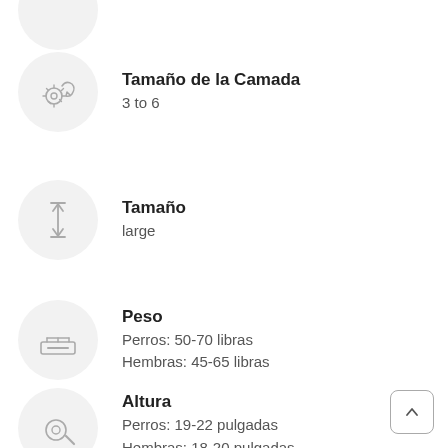Tamaño de la Camada
3 to 6
Tamaño
large
Peso
Perros: 50-70 libras
Hembras: 45-65 libras
Altura
Perros: 19-22 pulgadas
Hembras: 18-20 pulgadas